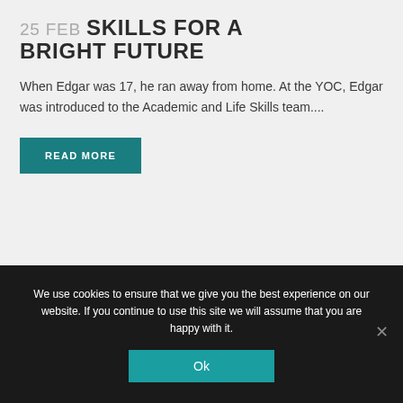25 FEB SKILLS FOR A BRIGHT FUTURE
When Edgar was 17, he ran away from home. At the YOC, Edgar was introduced to the Academic and Life Skills team....
READ MORE
We use cookies to ensure that we give you the best experience on our website. If you continue to use this site we will assume that you are happy with it.
Ok